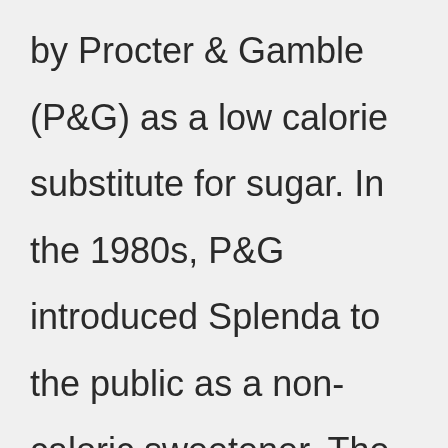by Procter & Gamble (P&G) as a low calorie substitute for sugar. In the 1980s, P&G introduced Splenda to the public as a non-caloric sweetener. The company later launched two other brands of artificial sweeteners, Equal and Sweet'N Low. Splenda now accounts for 90% of the US market